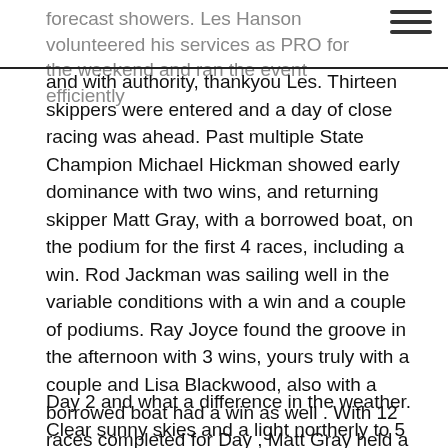forecast showers. Les Hanson volunteered his services as PRO for the weekend and ran the event efficiently
and with authority, thankyou Les. Thirteen skippers were entered and a day of close racing was ahead. Past multiple State Champion Michael Hickman showed early dominance with two wins, and returning skipper Matt Gray, with a borrowed boat, on the podium for the first 4 races, including a win. Rod Jackman was sailing well in the variable conditions with a win and a couple of podiums. Ray Joyce found the groove in the afternoon with 3 wins, yours truly with a couple and Lisa Blackwood, also with a borrowed boat had a win as well . With 12 races completed for Day , Matt Gray held a comfortable 6 point lead from Michael Hickman on 37 points, 2 points ahead of Rod Jackman in third place on 39 points.
Day 2 and what a difference in the weather. Clear sunny skies and a light northerly to 5 -8 knots. plenty of shifts